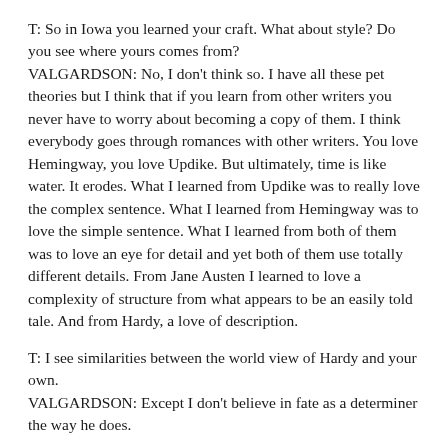T: So in Iowa you learned your craft. What about style? Do you see where yours comes from?
VALGARDSON: No, I don't think so. I have all these pet theories but I think that if you learn from other writers you never have to worry about becoming a copy of them. I think everybody goes through romances with other writers. You love Hemingway, you love Updike. But ultimately, time is like water. It erodes. What I learned from Updike was to really love the complex sentence. What I learned from Hemingway was to love the simple sentence. What I learned from both of them was to love an eye for detail and yet both of them use totally different details. From Jane Austen I learned to love a complexity of structure from what appears to be an easily told tale. And from Hardy, a love of description.
T: I see similarities between the world view of Hardy and your own.
VALGARDSON: Except I don't believe in fate as a determiner the way he does.
T: There's a poem of Hardy's to the effect "if only there was a God to blame all this on."
VALGARDSON: Well, I don't know that particular poem, but